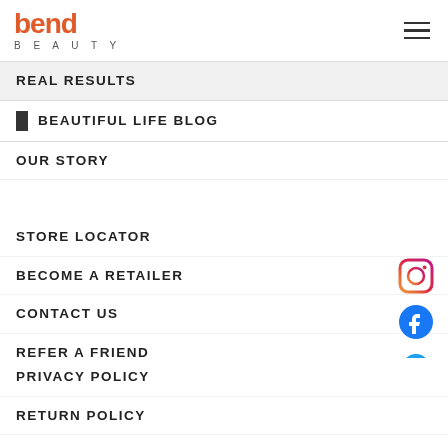[Figure (logo): Bend Beauty logo with orange 'bend' text and grey 'BEAUTY' subtitle]
REAL RESULTS
BEAUTIFUL LIFE BLOG
OUR STORY
STORE LOCATOR
BECOME A RETAILER
CONTACT US
REFER A FRIEND
[Figure (other): Instagram icon]
[Figure (other): Facebook icon]
[Figure (other): Twitter icon]
PRIVACY POLICY
RETURN POLICY
TERMS AND CONDITIONS
FAQ